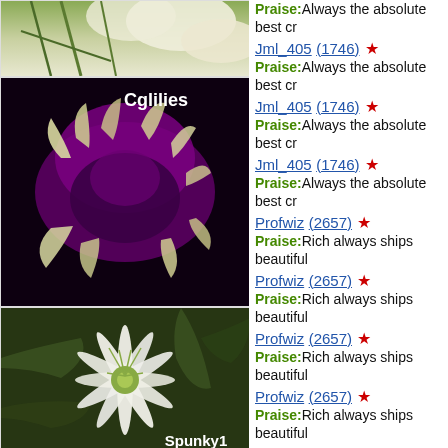[Figure (photo): Partial view of a white/cream lily flower with green stems against a light background]
[Figure (photo): Purple and cream fringed daylily flower labeled 'Cglilies' on a dark background]
[Figure (photo): White spider lily with green center labeled 'Spunky1' on a green foliage background]
Praise:Always the absolute best cr
Jml_405 (1746) ★
Praise:Always the absolute best cr
Jml_405 (1746) ★
Praise:Always the absolute best cr
Jml_405 (1746) ★
Praise:Always the absolute best cr
Profwiz (2657) ★
Praise:Rich always ships beautiful
Profwiz (2657) ★
Praise:Rich always ships beautiful
Profwiz (2657) ★
Praise:Rich always ships beautiful
Profwiz (2657) ★
Praise:Rich always ships beautiful
Profwiz (2657) ★
Praise:Rich always ships beautiful
Profwiz (2657) ★
Praise:Rich always ships beautiful
Profwiz (2657) ★
Praise:Rich always ships beautifu
Profwiz (2657) ★
Praise:Rich always ships beautiful